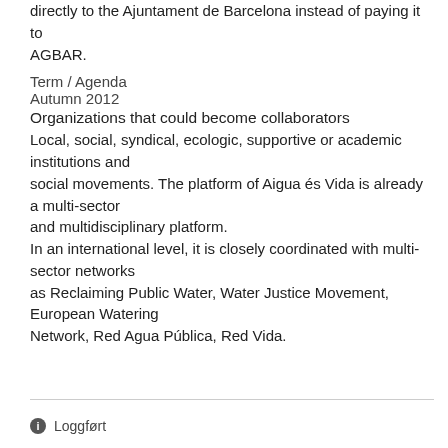directly to the Ajuntament de Barcelona instead of paying it to
AGBAR.
Term / Agenda
Autumn 2012
Organizations that could become collaborators
Local, social, syndical, ecologic, supportive or academic institutions and
social movements. The platform of Aigua és Vida is already a multi-sector
and multidisciplinary platform.
In an international level, it is closely coordinated with multi-sector networks
as Reclaiming Public Water, Water Justice Movement, European Watering
Network, Red Agua Pública, Red Vida.
ℹ Loggført